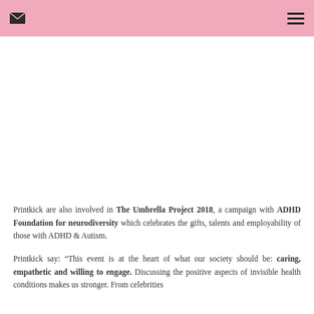Printkick are also involved in The Umbrella Project 2018, a campaign with ADHD Foundation for neurodiversity which celebrates the gifts, talents and employability of those with ADHD & Autism.
Printkick say: “This event is at the heart of what our society should be: caring, empathetic and willing to engage. Discussing the positive aspects of invisible health conditions makes us stronger. From celebrities